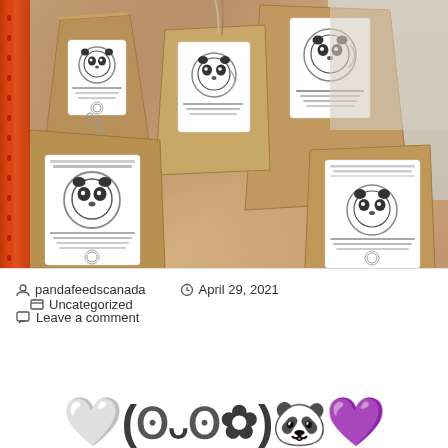[Figure (photo): Photo of multiple brown paper bags with white panda logo labels (Pandafeedscanada) stacked in what appears to be a warehouse, with an orange storage rack visible on the left side.]
pandafeedscanada   April 29, 2021   Uncategorized
Leave a comment
🤍 (ʘᴗʘ✿) 🐼 💜